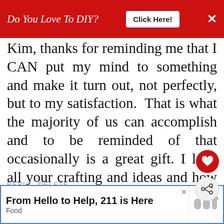Do You Love To DIY? Click Here!
Kim, thanks for reminding me that I CAN put my mind to something and make it turn out, not perfectly, but to my satisfaction. That is what the majority of us can accomplish and to be reminded of that occasionally is a great gift. I love all your crafting and ideas and how you look at the world through rose colored tulips! Happy Halloween, my friend.Judy
REPLY DELETE
WHAT'S NEXT → A Vintage Player Piano...
▾ REPLIES
From Hello to Help, 211 is Here Food